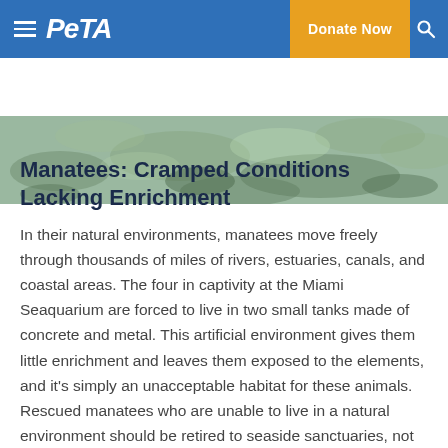PETA — Donate Now
[Figure (photo): Underwater/aquatic scene showing what appears to be a manatee or sea floor with rocks and sediment in muted green and grey tones]
Manatees: Cramped Conditions Lacking Enrichment
In their natural environments, manatees move freely through thousands of miles of rivers, estuaries, canals, and coastal areas. The four in captivity at the Miami Seaquarium are forced to live in two small tanks made of concrete and metal. This artificial environment gives them little enrichment and leaves them exposed to the elements, and it's simply an unacceptable habitat for these animals. Rescued manatees who are unable to live in a natural environment should be retired to seaside sanctuaries, not kept in cramped tanks.